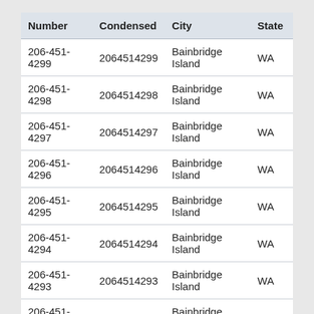| Number | Condensed | City | State |
| --- | --- | --- | --- |
| 206-451-4299 | 2064514299 | Bainbridge Island | WA |
| 206-451-4298 | 2064514298 | Bainbridge Island | WA |
| 206-451-4297 | 2064514297 | Bainbridge Island | WA |
| 206-451-4296 | 2064514296 | Bainbridge Island | WA |
| 206-451-4295 | 2064514295 | Bainbridge Island | WA |
| 206-451-4294 | 2064514294 | Bainbridge Island | WA |
| 206-451-4293 | 2064514293 | Bainbridge Island | WA |
| 206-451-4292 | 2064514292 | Bainbridge Island | WA |
| 206-451-4291 | 2064514291 | Bainbridge Island | WA |
| 206-451-4290 | 2064514290 | Bainbridge Island | WA |
| 206-451-4289 | 2064514289 | Bainbridge Island | WA |